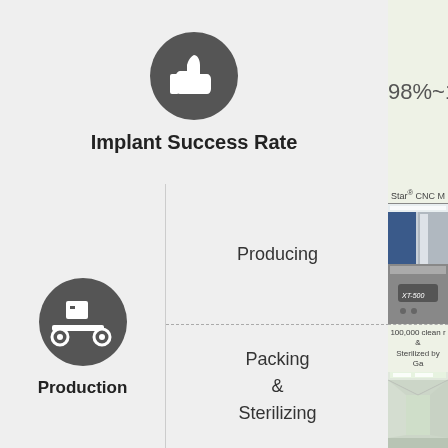[Figure (infographic): Thumbs up icon in dark circle representing Implant Success Rate]
Implant Success Rate
98%~1
[Figure (photo): Production conveyor/factory icon in dark circle]
Production
Producing
Star® CNC M
[Figure (photo): CNC machine photo showing XT-500 machine in facility]
100,000 clean r & Sterilized by Ga
Packing & Sterilizing
[Figure (photo): Clean room hallway photo with green lighting]